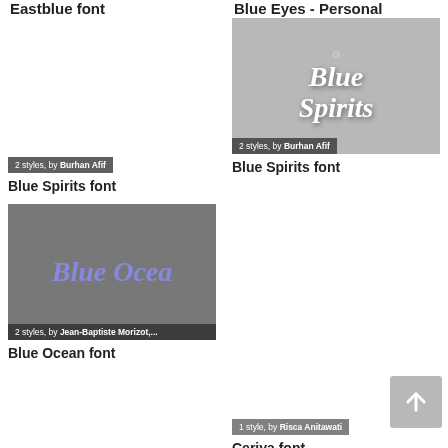Eastblue font
Blue Eyes - Personal
[Figure (illustration): Blue Spirits font preview image with decorative ornate white lettering on gray background. Badge: '2 styles, by Burhan Afif']
Blue Spirits font
[Figure (illustration): Blue Spirits font preview image showing stylized decorative text. Badge: '2 styles, by Burhan Afif']
Blue Spirits font
[Figure (illustration): Blue Ocean font preview showing 'Blue Ocea' in purple italic on dark gray background. Badge: '2 styles, by Jean-Baptiste Morizot,...']
Blue Ocean font
1 style, by Risca Anitawati
Ceriya font